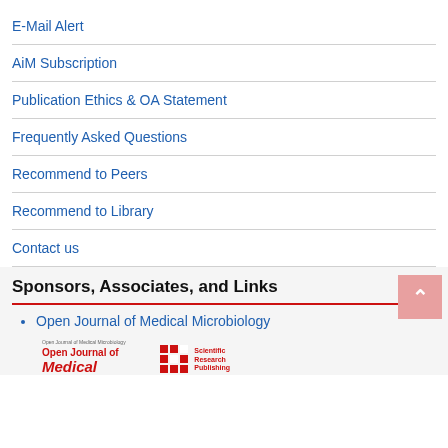E-Mail Alert
AiM Subscription
Publication Ethics & OA Statement
Frequently Asked Questions
Recommend to Peers
Recommend to Library
Contact us
Sponsors, Associates, and Links
Open Journal of Medical Microbiology
[Figure (logo): Open Journal of Medical logo with Scientific Research Publishing branding]